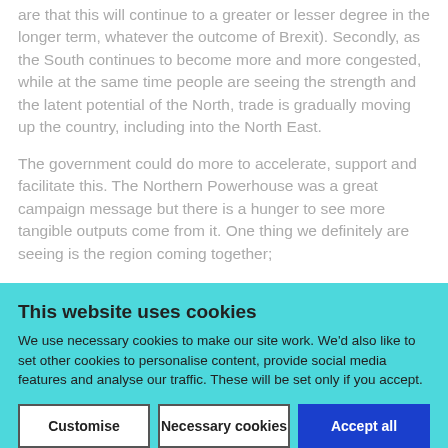are that this will continue to a greater or lesser degree in the longer term, whatever the outcome of Brexit). Secondly, as the South continues to become more and more congested, while at the same time people are seeing the strength and the latent potential of the North, trade is gradually moving up the country, including into the North East.
The government could do more to accelerate, support and facilitate this. The Northern Powerhouse was a great campaign message but there is a hunger to see more tangible outputs come from it. One thing we definitely are seeing is the region coming together;
This website uses cookies
We use necessary cookies to make our site work. We'd also like to set other cookies to personalise content, provide social media features and analyse our traffic. These will be set only if you accept.